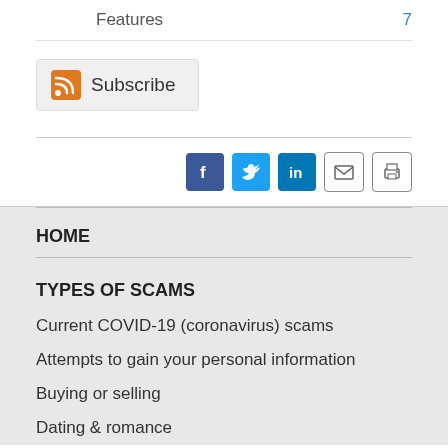Features  7
[Figure (other): Subscribe button with RSS feed icon]
[Figure (other): Social sharing icons: Facebook, Twitter, LinkedIn, Email, Print]
HOME
TYPES OF SCAMS
Current COVID-19 (coronavirus) scams
Attempts to gain your personal information
Buying or selling
Dating & romance